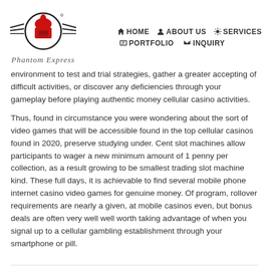[Figure (logo): Phantom Express logo with red spartan helmet inside a circle with wing-like lines on either side, and cursive text 'Phantom Express' below]
HOME  ABOUT US  SERVICES  PORTFOLIO  INQUIRY
environment to test and trial strategies, gather a greater accepting of difficult activities, or discover any deficiencies through your gameplay before playing authentic money cellular casino activities.
Thus, found in circumstance you were wondering about the sort of video games that will be accessible found in the top cellular casinos found in 2020, preserve studying under. Cent slot machines allow participants to wager a new minimum amount of 1 penny per collection, as a result growing to be smallest trading slot machine kind. These full days, it is achievable to find several mobile phone internet casino video games for genuine money. Of program, rollover requirements are nearly a given, at mobile casinos even, but bonus deals are often very well well worth taking advantage of when you signal up to a cellular gambling establishment through your smartphone or pill.
POSTED IN UNCATEGORIZED